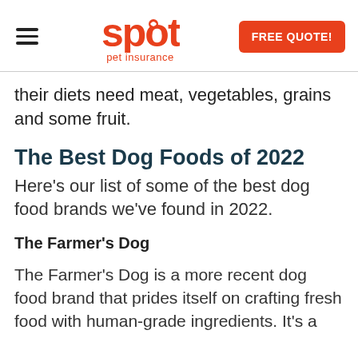Spot Pet Insurance | FREE QUOTE!
their diets need meat, vegetables, grains and some fruit.
The Best Dog Foods of 2022
Here's our list of some of the best dog food brands we've found in 2022.
The Farmer's Dog
The Farmer's Dog is a more recent dog food brand that prides itself on crafting fresh food with human-grade ingredients. It's a